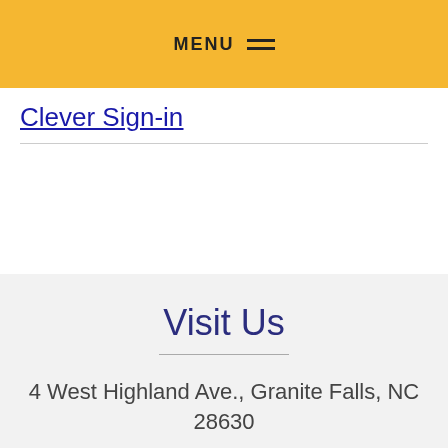MENU
Clever Sign-in
Visit Us
4 West Highland Ave., Granite Falls, NC 28630
VIEW MAP +